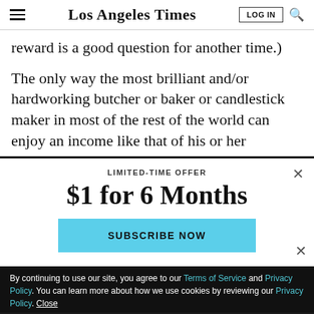Los Angeles Times
reward is a good question for another time.)
The only way the most brilliant and/or hardworking butcher or baker or candlestick maker in most of the rest of the world can enjoy an income like that of his or her
LIMITED-TIME OFFER
$1 for 6 Months
SUBSCRIBE NOW
By continuing to use our site, you agree to our Terms of Service and Privacy Policy. You can learn more about how we use cookies by reviewing our Privacy Policy. Close
[Figure (screenshot): The Times podcast advertisement banner with red logo and LISTEN NOW button]